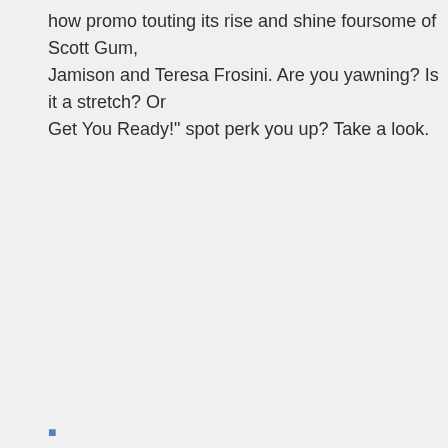how promo touting its rise and shine foursome of Scott Gum, Jamison and Teresa Frosini. Are you yawning? Is it a stretch? Or Get You Ready!" spot perk you up? Take a look.
...